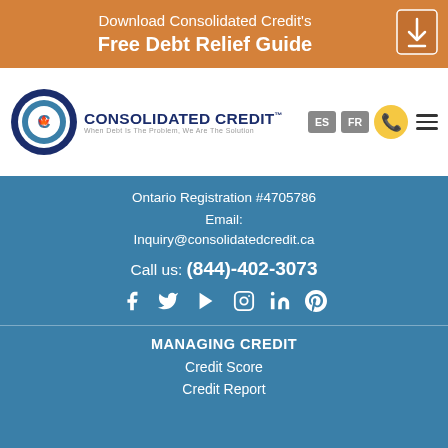Download Consolidated Credit's Free Debt Relief Guide
[Figure (logo): Consolidated Credit logo with maple leaf emblem and tagline 'When Debt Is The Problem, We Are The Solution'. Navigation includes ES, FR language buttons, phone icon, and hamburger menu.]
Ontario Registration #4705786
Email: Inquiry@consolidatedcredit.ca
Call us: (844)-402-3073
[Figure (infographic): Social media icons: Facebook, Twitter, YouTube, Instagram, LinkedIn, Pinterest]
MANAGING CREDIT
Credit Score
Credit Report